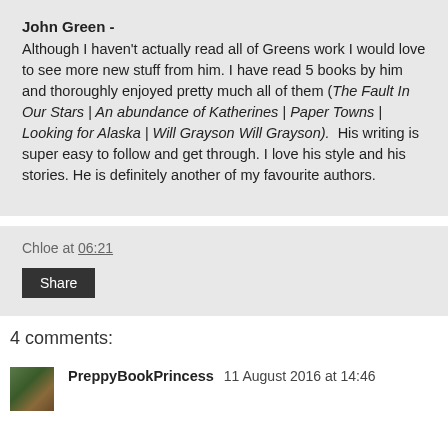John Green - Although I haven't actually read all of Greens work I would love to see more new stuff from him. I have read 5 books by him and thoroughly enjoyed pretty much all of them (The Fault In Our Stars | An abundance of Katherines | Paper Towns | Looking for Alaska | Will Grayson Will Grayson).  His writing is super easy to follow and get through. I love his style and his stories. He is definitely another of my favourite authors.
Chloe at 06:21
Share
4 comments:
PreppyBookPrincess 11 August 2016 at 14:46